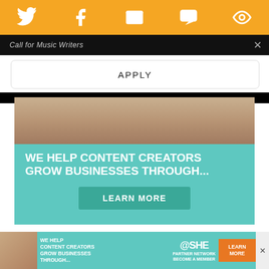Social share bar with Twitter, Facebook, Email, SMS, and another icon
Call for Music Writers
APPLY
[Figure (infographic): Advertisement banner: WE HELP CONTENT CREATORS GROW BUSINESSES THROUGH... with LEARN MORE button on teal background]
The Complete Lady Snowblood
What it is. Based on a Japanese comic, Lady Snowblood and its sequel follow a cold, relentless, bruised beauty (Meiko Kaii), trained since
[Figure (infographic): Bottom banner ad: WE HELP CONTENT CREATORS GROW BUSINESSES THROUGH... SHE PARTNER NETWORK BECOME A MEMBER LEARN MORE button]